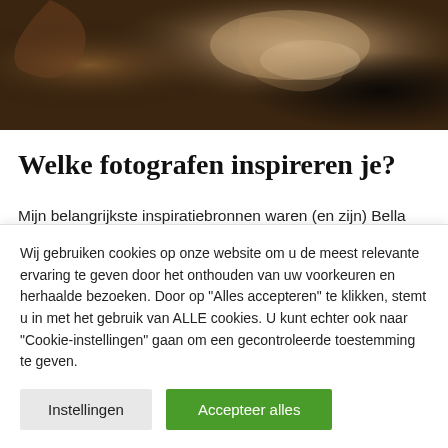[Figure (photo): Food photography image showing what appears to be bread dough or a baked item with flour dusting, dark background with warm brown tones]
Welke fotografen inspireren je?
Mijn belangrijkste inspiratiebronnen waren (en zijn) Bella Karragiannidis (ful.filled) speciaal door haar creativiteit en benadering van foodfotografie, Bea Lubas (bealubas) door
Wij gebruiken cookies op onze website om u de meest relevante ervaring te geven door het onthouden van uw voorkeuren en herhaalde bezoeken. Door op "Alles accepteren" te klikken, stemt u in met het gebruik van ALLE cookies. U kunt echter ook naar "Cookie-instellingen" gaan om een gecontroleerde toestemming te geven.
Instellingen
Accepteer alles